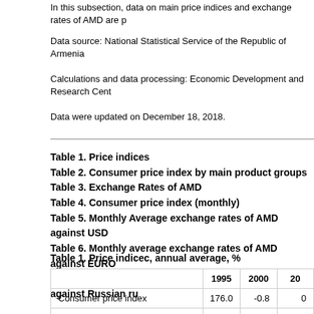In this subsection, data on main price indices and exchange rates of AMD are p
Data source: National Statistical Service of the Republic of Armenia
Calculations and data processing: Economic Development and Research Cent
Data were updated on December 18, 2018.
Table 1. Price indices
Table 2. Consumer price index by main product groups
Table 3. Exchange Rates of AMD
Table 4. Consumer price index (monthly)
Table 5. Monthly Average exchange rates of AMD against USD
Table 6. Monthly average exchange rates of AMD against EURO
Table 7. Monthly Average exchange rates of AMD against Russian ru
Table 1. Price indicec, annual average, %
|  | 1995 | 2000 | 20 |
| --- | --- | --- | --- |
| Consumer price index | 176.0 | -0.8 | 0 |
| Producer price index of industrial production | 275.4 | 0.8 | 7 |
| Freight transportation tariff index | 61.9 | 0.9 | -1 |